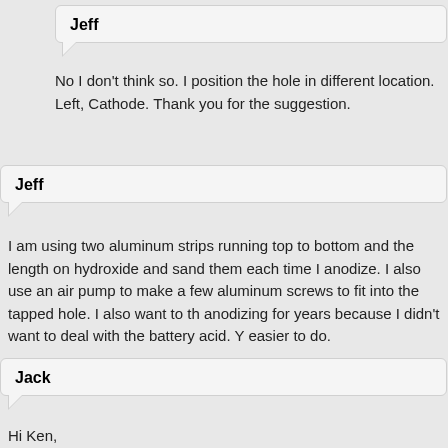Jeff
No I don't think so. I position the hole in different location. Left, Cathode. Thank you for the suggestion.
Jeff
I am using two aluminum strips running top to bottom and the length on hydroxide and sand them each time I anodize. I also use an air pump to make a few aluminum screws to fit into the tapped hole. I also want to th anodizing for years because I didn't want to deal with the battery acid. Y easier to do.
Jack
Hi Ken,